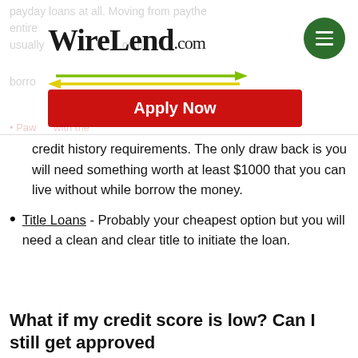WireLend.com
[Figure (screenshot): Apply Now button in red with WireLend.com logo and green menu icon, plus green and yellow directional arrows]
credit history requirements. The only draw back is you will need something worth at least $1000 that you can live without while borrow the money.
Title Loans - Probably your cheapest option but you will need a clean and clear title to initiate the loan.
What if my credit score is low? Can I still get approved